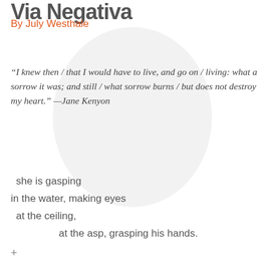Via Negativa
By July Westhale
"I knew then / that I would have to live, and go on / living: what a sorrow it was; and still / what sorrow burns / but does not destroy my heart." —Jane Kenyon
she is gasping
in the water, making eyes
at the ceiling,
at the asp, grasping his hands.
+